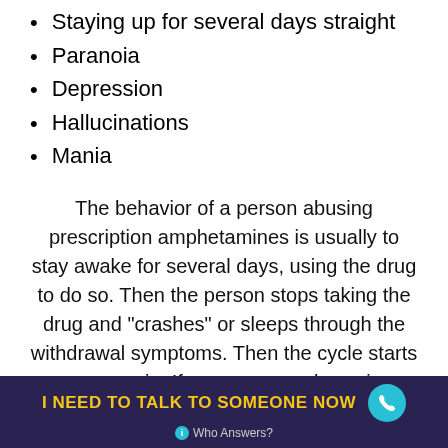Staying up for several days straight
Paranoia
Depression
Hallucinations
Mania
The behavior of a person abusing prescription amphetamines is usually to stay awake for several days, using the drug to do so. Then the person stops taking the drug and “crashes” or sleeps through the withdrawal symptoms. Then the cycle starts over again. If someone you know is exhibiting this behavior, it is very likely
I NEED TO TALK TO SOMEONE NOW   Who Answers?